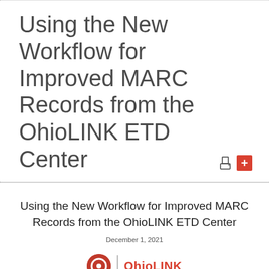Using the New Workflow for Improved MARC Records from the OhioLINK ETD Center
Using the New Workflow for Improved MARC Records from the OhioLINK ETD Center
December 1, 2021
[Figure (logo): OhioLINK logo with red circle and red text reading OhioLINK]